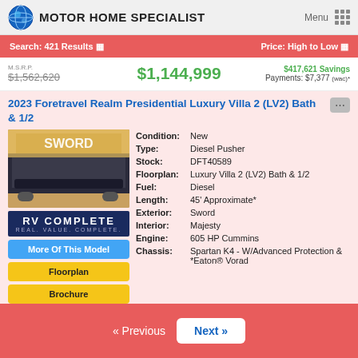MOTOR HOME SPECIALIST
Search: 421 Results | Price: High to Low
M.S.R.P. $1,562,620 | $1,144,999 | $417,621 Savings | Payments: $7,377 (wac)*
2023 Foretravel Realm Presidential Luxury Villa 2 (LV2) Bath & 1/2
[Figure (photo): Photo of a luxury motor home (Sword exterior) with RV Complete badge below]
More Of This Model
Floorplan
Brochure
| Field | Value |
| --- | --- |
| Condition: | New |
| Type: | Diesel Pusher |
| Stock: | DFT40589 |
| Floorplan: | Luxury Villa 2 (LV2) Bath & 1/2 |
| Fuel: | Diesel |
| Length: | 45' Approximate* |
| Exterior: | Sword |
| Interior: | Majesty |
| Engine: | 605 HP Cummins |
| Chassis: | Spartan K4 - W/Advanced Protection & *Eaton® Vorad |
« Previous   Next »